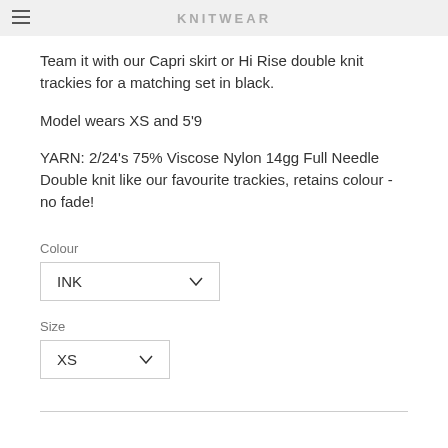KNITWEAR (brand header watermark)
Team it with our Capri skirt or Hi Rise double knit trackies for a matching set in black.
Model wears XS and 5'9
YARN: 2/24's 75% Viscose Nylon 14gg Full Needle Double knit like our favourite trackies, retains colour - no fade!
Colour
INK
Size
XS